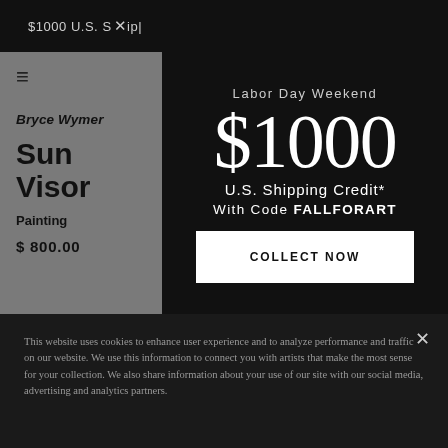$1000 U.S. Shipping Credit [x]
Bryce Wymer
Sun Visor
Painting
$ 800.00
Labor Day Weekend
$1000
U.S. Shipping Credit*
With Code FALLFORART
COLLECT NOW
This website uses cookies to enhance user experience and to analyze performance and traffic on our website. We use this information to connect you with artists that make the most sense for your collection. We also share information about your use of our site with our social media, advertising and analytics partners.